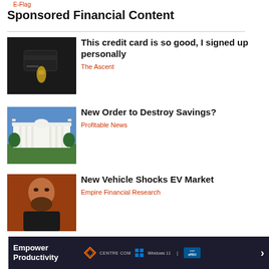E-Flag
Sponsored Financial Content
[Figure (photo): A gold figurine hand holding a dark credit card against a black background]
This credit card is so good, I signed up personally
The Ascent
[Figure (photo): The White House building with green lawn and blue sky]
New Order to Destroy Savings?
Profitable News
[Figure (photo): A bearded man against an orange background]
New Vehicle Shocks EV Market
Empire Financial Research
[Figure (screenshot): Advertisement banner: Empower Productivity - Centre COM, Windows 11, Intel vPRO]